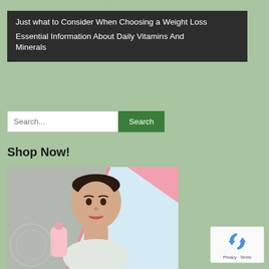Leaner and Stronger You (Diet, Stronger
Just what to Consider When Choosing a Weight Loss
Essential Information About Daily Vitamins And Minerals
Search...
Shop Now!
[Figure (photo): Woman with black and white polka dot headband holding a pink beauty/skincare product, looking at camera]
[Figure (logo): reCAPTCHA badge with recycling-style arrow icon and Privacy - Terms text]